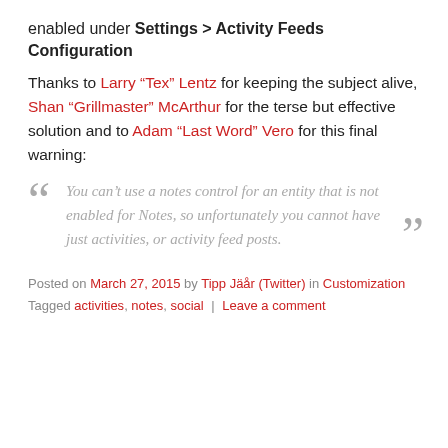enabled under Settings > Activity Feeds Configuration
Thanks to Larry “Tex” Lentz for keeping the subject alive, Shan “Grillmaster” McArthur for the terse but effective solution and to Adam “Last Word” Vero for this final warning:
“You can’t use a notes control for an entity that is not enabled for Notes, so unfortunately you cannot have just activities, or activity feed posts.”
Posted on March 27, 2015 by Tipp Jäår (Twitter) in Customization
Tagged activities, notes, social | Leave a comment